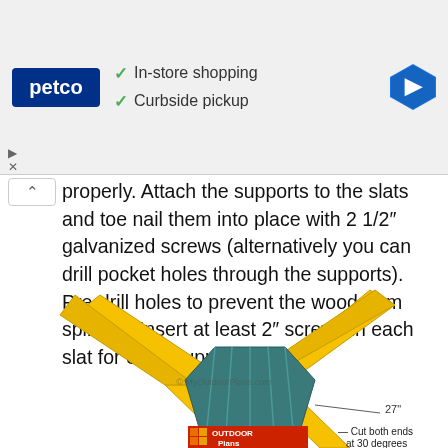[Figure (screenshot): Petco advertisement banner showing logo, checkmarks for In-store shopping and Curbside pickup, and a navigation arrow icon]
properly. Attach the supports to the slats and toe nail them into place with 2 1/2" galvanized screws (alternatively you can drill pocket holes through the supports). Pre-drill holes to prevent the wood from splitting. Insert at least 2" screws in each slat for each support.
[Figure (engineering-diagram): Engineering diagram showing crossed wooden slats in yellow/gold color arranged in an X/V pattern with a teal/dark center support block. Label shows 27" measurement and note: Cut both ends at 30 degrees. Watermark: MyOutdoorPlans.com. Logo: OUTDOOR Plans]